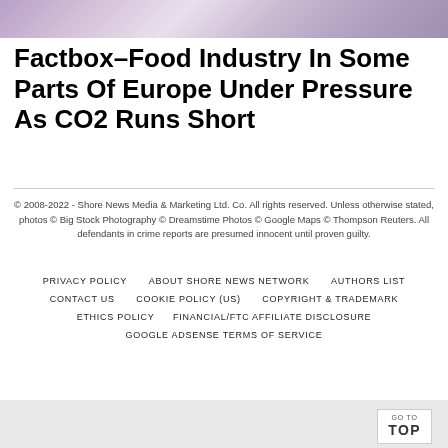[Figure (photo): Partial photo strip at top of page, showing blurred/cropped image with purple/grey tones]
Factbox–Food Industry In Some Parts Of Europe Under Pressure As CO2 Runs Short
© 2008-2022 - Shore News Media & Marketing Ltd. Co. All rights reserved. Unless otherwise stated, photos © Big Stock Photography © Dreamstime Photos © Google Maps © Thompson Reuters. All defendants in crime reports are presumed innocent until proven guilty.
PRIVACY POLICY   ABOUT SHORE NEWS NETWORK   AUTHORS LIST   CONTACT US   COOKIE POLICY (US)   COPYRIGHT & TRADEMARK   ETHICS POLICY   FINANCIAL/FTC AFFILIATE DISCLOSURE   GOOGLE ADSENSE TERMS OF SERVICE